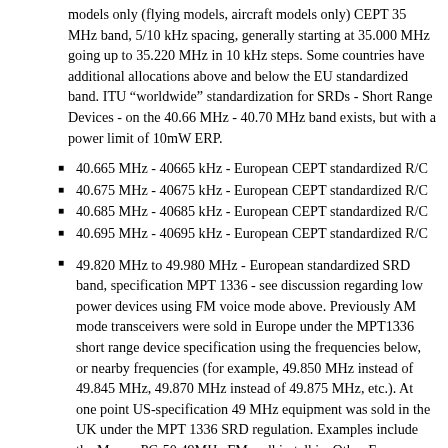models only (flying models, aircraft models only) CEPT 35 MHz band, 5/10 kHz spacing, generally starting at 35.000 MHz going up to 35.220 MHz in 10 kHz steps. Some countries have additional allocations above and below the EU standardized band. ITU “worldwide” standardization for SRDs - Short Range Devices - on the 40.66 MHz - 40.70 MHz band exists, but with a power limit of 10mW ERP.
40.665 MHz - 40665 kHz - European CEPT standardized R/C
40.675 MHz - 40675 kHz - European CEPT standardized R/C
40.685 MHz - 40685 kHz - European CEPT standardized R/C
40.695 MHz - 40695 kHz - European CEPT standardized R/C
49.820 MHz to 49.980 MHz - European standardized SRD band, specification MPT 1336 - see discussion regarding low power devices using FM voice mode above. Previously AM mode transceivers were sold in Europe under the MPT1336 short range device specification using the frequencies below, or nearby frequencies (for example, 49.850 MHz instead of 49.845 MHz, 49.870 MHz instead of 49.875 MHz, etc.). At one point US-specification 49 MHz equipment was sold in the UK under the MPT 1336 SRD regulation. Examples include the Maxon PC-50 49MHz FM walkie-talkie. Other European-specific FM transceivers (walkie talkies) include the T5002 FM transceiver, rated at 25 milliwatts (25mw, 0.025 watts) power